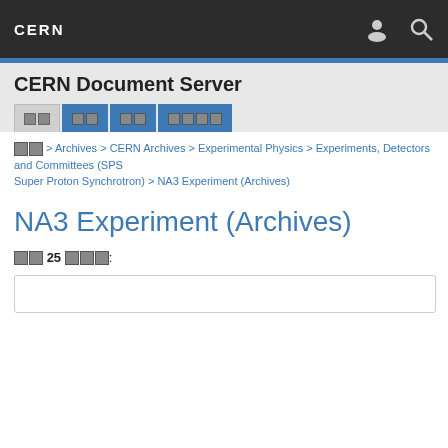CERN
CERN Document Server
[XX] > Archives > CERN Archives > Experimental Physics > Experiments, Detectors and Committees (SPS Super Proton Synchrotron) > NA3 Experiment (Archives)
NA3 Experiment (Archives)
[XX] 25 [XXX]:
Ac